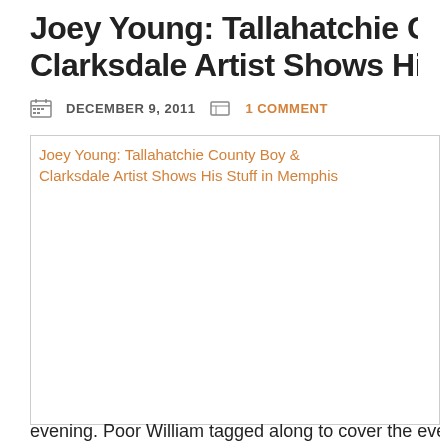Joey Young: Tallahatchie County Boy & Clarksdale Artist Shows His Stuff in Memphis
DECEMBER 9, 2011   1 COMMENT
[Figure (photo): Broken image placeholder showing alt text: Joey Young: Tallahatchie County Boy & Clarksdale Artist Shows His Stuff in Memphis]
evening. Poor William tagged along to cover the eve